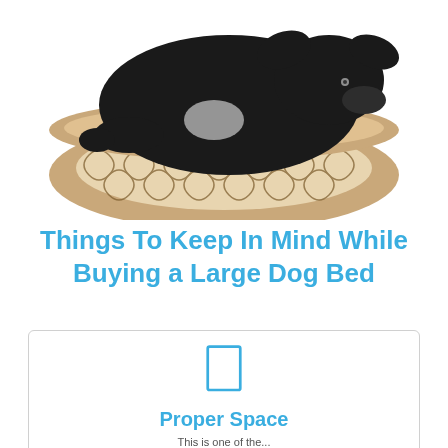[Figure (photo): A black dog curled up and sleeping in a tan/beige patterned dog bed with a Moroccan tile design]
Things To Keep In Mind While Buying a Large Dog Bed
[Figure (infographic): A card with a blue rectangle/door icon and the label 'Proper Space' below it, with partial text beginning 'This is one of the...']